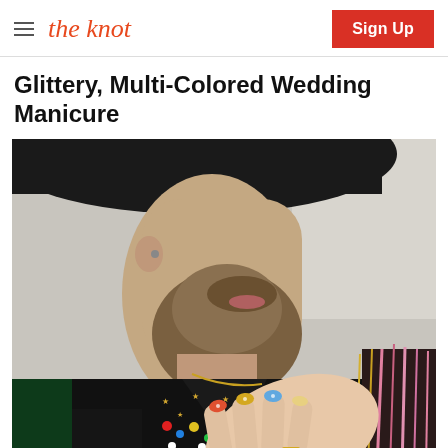the knot | Sign Up
Glittery, Multi-Colored Wedding Manicure
[Figure (photo): Close-up photo of a bearded man wearing a wide-brim black hat and a black bedazzled jacket decorated with colorful gems and gold stars, with a hand displaying glittery multi-colored wedding manicure nails resting on his chest.]